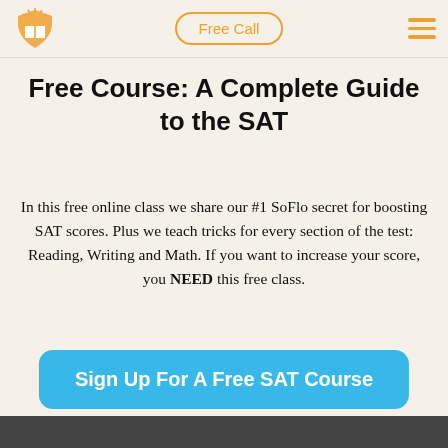Free Call | navigation logo
Free Course: A Complete Guide to the SAT
In this free online class we share our #1 SoFlo secret for boosting SAT scores. Plus we teach tricks for every section of the test: Reading, Writing and Math. If you want to increase your score, you NEED this free class.
Sign Up For A Free SAT Course